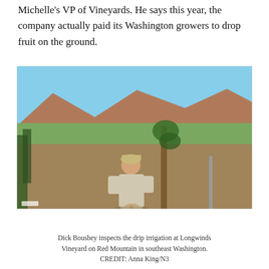Michelle's VP of Vineyards. He says this year, the company actually paid its Washington growers to drop fruit on the ground.
[Figure (photo): A man standing in a vineyard with rows of grape vines on a hillside. Brown mountains and green valley visible in background. The man wears a cap and light-colored clothing.]
Dick Boushey inspects the drip irrigation at Longwinds Vineyard on Red Mountain in southeast Washington. CREDIT: Anna King/N3